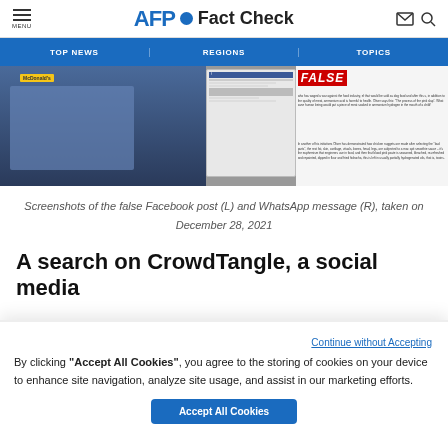AFP Fact Check
[Figure (screenshot): Navigation bar with TOP NEWS, REGIONS, TOPICS on blue background]
[Figure (screenshot): Screenshots showing a man near McDonald's sign on left, and a FALSE-labeled Facebook post with WhatsApp message on right]
Screenshots of the false Facebook post (L) and WhatsApp message (R), taken on December 28, 2021
A search on CrowdTangle, a social media
Continue without Accepting
By clicking “Accept All Cookies”, you agree to the storing of cookies on your device to enhance site navigation, analyze site usage, and assist in our marketing efforts.